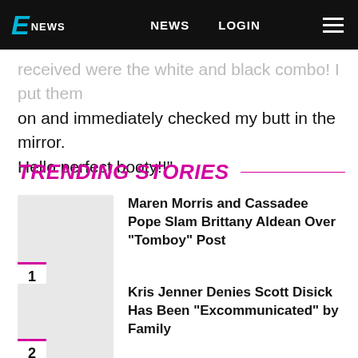E! NEWS  NEWS  LOGIN
received were the white and black combo! I put them on and immediately checked my butt in the mirror. Hello perfect booty!!"
TRENDING STORIES
1  Maren Morris and Cassadee Pope Slam Brittany Aldean Over "Tomboy" Post
2  Kris Jenner Denies Scott Disick Has Been "Excommunicated" by Family